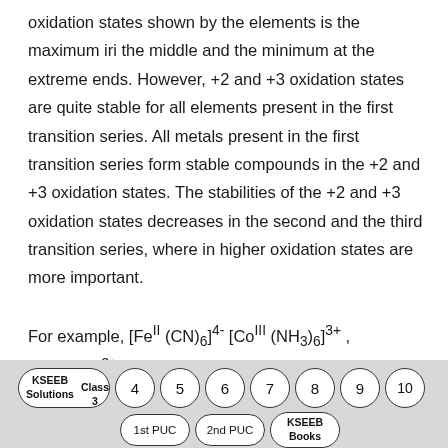oxidation states shown by the elements is the maximum iri the middle and the minimum at the extreme ends. However, +2 and +3 oxidation states are quite stable for all elements present in the first transition series. All metals present in the first transition series form stable compounds in the +2 and +3 oxidation states. The stabilities of the +2 and +3 oxidation states decreases in the second and the third transition series, where in higher oxidation states are more important.
For example, [FeII (CN)6]4- [CoIII (NH3)6]3+ , [Ti(H2O)6]3+ air stable complexes, but no such
[Figure (other): Navigation footer bar with oval/circular bubbles: KSEEB Solutions Class 3, 4, 5, 6, 7, 8, 9, 10 in top row; 1st PUC, 2nd PUC, KSEEB Books in second row]